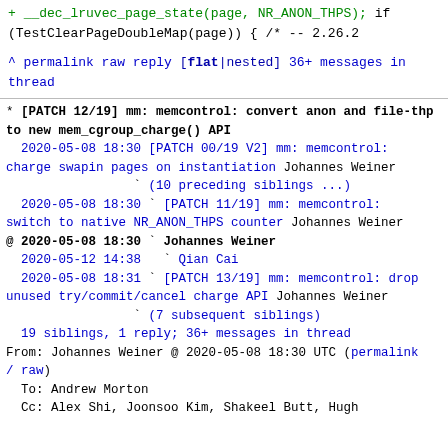+ __dec_lruvec_page_state(page, NR_ANON_THPS);

        if (TestClearPageDoubleMap(page)) {
                /*
--
2.26.2
^ permalink raw reply    [flat|nested] 36+ messages in thread
* [PATCH 12/19] mm: memcontrol: convert anon and file-thp to new mem_cgroup_charge() API
  2020-05-08 18:30 [PATCH 00/19 V2] mm: memcontrol: charge swapin pages on instantiation Johannes Weiner
                   ` (10 preceding siblings ...)
  2020-05-08 18:30 ` [PATCH 11/19] mm: memcontrol: switch to native NR_ANON_THPS counter Johannes Weiner
@ 2020-05-08 18:30 ` Johannes Weiner
  2020-05-12 14:38   ` Qian Cai
  2020-05-08 18:31 ` [PATCH 13/19] mm: memcontrol: drop unused try/commit/cancel charge API Johannes Weiner
                   ` (7 subsequent siblings)
  19 siblings, 1 reply; 36+ messages in thread
From: Johannes Weiner @ 2020-05-08 18:30 UTC (permalink / raw)
  To: Andrew Morton
  Cc: Alex Shi, Joonsoo Kim, Shakeel Butt, Hugh